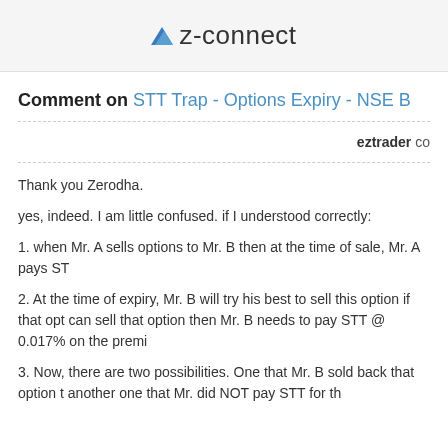z-connect
Comment on STT Trap - Options Expiry - NSE B
eztrader co
Thank you Zerodha.
yes, indeed. I am little confused. if I understood correctly:
1. when Mr. A sells options to Mr. B then at the time of sale, Mr. A pays ST
2. At the time of expiry, Mr. B will try his best to sell this option if that opt can sell that option then Mr. B needs to pay STT @ 0.017% on the premi
3. Now, there are two possibilities. One that Mr. B sold back that option t another one that Mr. did NOT pay STT for th